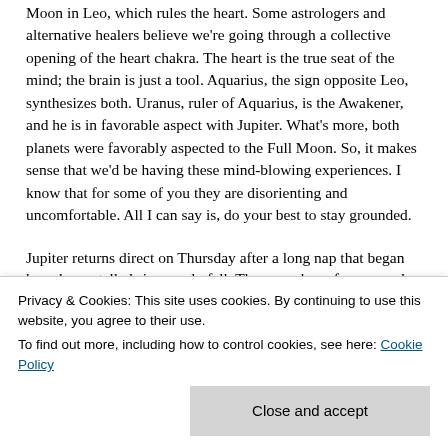Moon in Leo, which rules the heart. Some astrologers and alternative healers believe we're going through a collective opening of the heart chakra. The heart is the true seat of the mind; the brain is just a tool. Aquarius, the sign opposite Leo, synthesizes both. Uranus, ruler of Aquarius, is the Awakener, and he is in favorable aspect with Jupiter. What's more, both planets were favorably aspected to the Full Moon. So, it makes sense that we'd be having these mind-blowing experiences. I know that for some of you they are disorienting and uncomfortable. All I can say is, do your best to stay grounded.
Jupiter returns direct on Thursday after a long nap that began
Privacy & Cookies: This site uses cookies. By continuing to use this website, you agree to their use.
To find out more, including how to control cookies, see here: Cookie Policy
Close and accept
have been stalled since early fall. They sure have for me, and